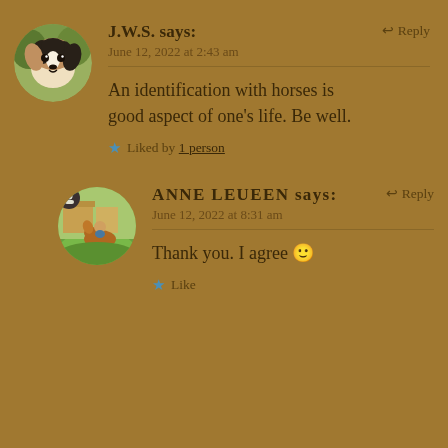J.W.S. says: June 12, 2022 at 2:43 am
An identification with horses is good aspect of one's life. Be well.
Liked by 1 person
ANNE LEUEEN says: June 12, 2022 at 8:31 am
Thank you. I agree 🙂
Like